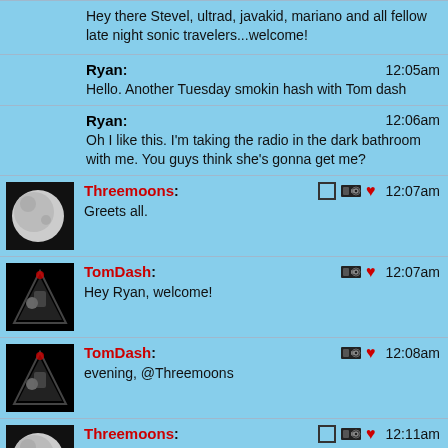Hey there Stevel, ultrad, javakid, mariano and all fellow late night sonic travelers...welcome!
Ryan: 12:05am
Hello. Another Tuesday smokin hash with Tom dash
Ryan: 12:06am
Oh I like this. I'm taking the radio in the dark bathroom with me. You guys think she's gonna get me?
Threemoons: 12:07am
Greets all.
TomDash: 12:07am
Hey Ryan, welcome!
TomDash: 12:08am
evening, @Threemoons
Threemoons: 12:11am
So..did some alternative physics in my fridge earlier; need to make more room even...getting some T-giving food delivered tomorrow courtesy of Mom, who I can't see this year because of COVID.. also figuring out what side